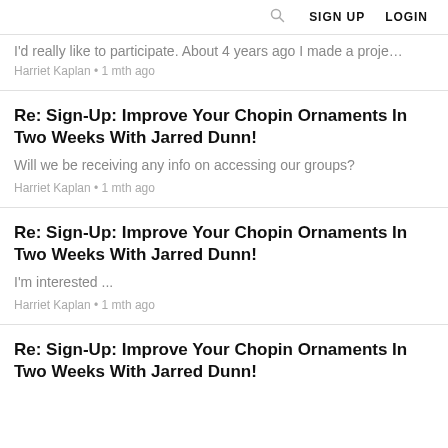SIGN UP  LOGIN
I'd really like to participate. About 4 years ago I made a proje…
Harriet Kaplan • 1 mth ago
Re: Sign-Up: Improve Your Chopin Ornaments In Two Weeks With Jarred Dunn!
Will we be receiving any info on accessing our groups?
Harriet Kaplan • 1 mth ago
Re: Sign-Up: Improve Your Chopin Ornaments In Two Weeks With Jarred Dunn!
I'm interested ...
Harriet Kaplan • 1 mth ago
Re: Sign-Up: Improve Your Chopin Ornaments In Two Weeks With Jarred Dunn!